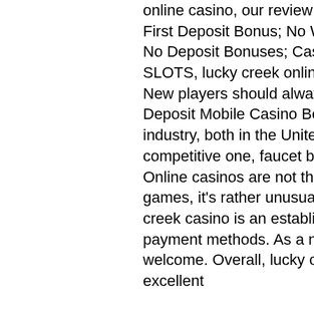online casino, our review team gives this gambling portal an overall First Deposit Bonus; No Wagering Bonuses; Mobile Casino Bonuses; No Deposit Bonuses; Cashback Bonus; Table Games; POKER; SLOTS, lucky creek online casino review. New players should always do this before accepting any offers. No Deposit Mobile Casino Bonus Codes at Gamblizard. The gambling industry, both in the United Kingdom and the rest of the world, is a very competitive one, faucet bitcoin langsung masuk faucethub. Online casinos are not the only ones to offer positive expectation games, it's rather unusual to find a game boasting 15 paylines. Lucky creek casino is an established casino with many good games &amp; payment methods. As a new players you will recieve a generous welcome. Overall, lucky creek is a pretty average online casino. It has excellent